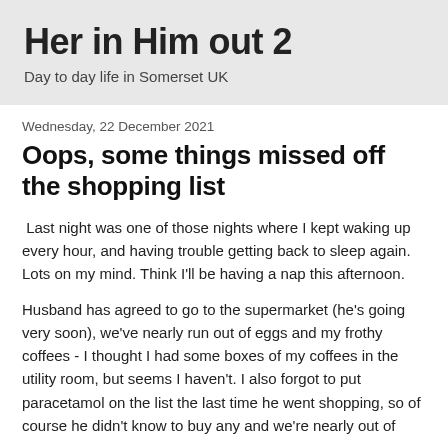Her in Him out 2
Day to day life in Somerset UK
Wednesday, 22 December 2021
Oops, some things missed off the shopping list
Last night was one of those nights where I kept waking up every hour, and having trouble getting back to sleep again.  Lots on my mind.  Think I'll be having a nap this afternoon.
Husband has agreed to go to the supermarket (he's going very soon), we've nearly run out of eggs and my frothy coffees - I thought I had some boxes of my coffees in the utility room, but seems I haven't.  I also forgot to put paracetamol on the list the last time he went shopping, so of course he didn't know to buy any and we're nearly out of them too.  We know at the end of some things we should...